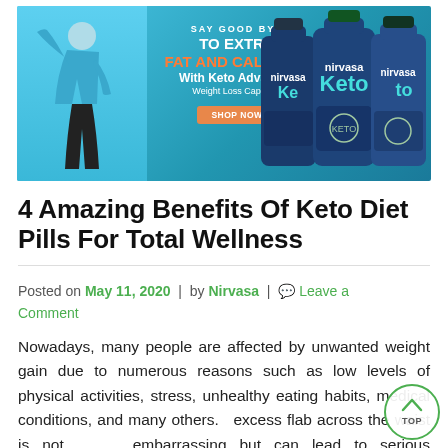[Figure (illustration): Advertisement banner for Nirvasa Keto Advanced Weight Loss Capsules. Shows a woman in athletic clothing on the left, text in the center reading 'SAY GOODBYE TO EXTRA FAT AND CALORIES With Keto Advanced Weight Loss Capsules' with a 'SHOP NOW' button, and three Keto supplement bottles on the right. Blue gradient background.]
4 Amazing Benefits Of Keto Diet Pills For Total Wellness
Posted on May 11, 2020 | by Nirvasa | Leave a Comment
Nowadays, many people are affected by unwanted weight gain due to numerous reasons such as low levels of physical activities, stress, unhealthy eating habits, medical conditions, and many others. The excess flab across the waist is not only embarrassing but can lead to serious disorders as